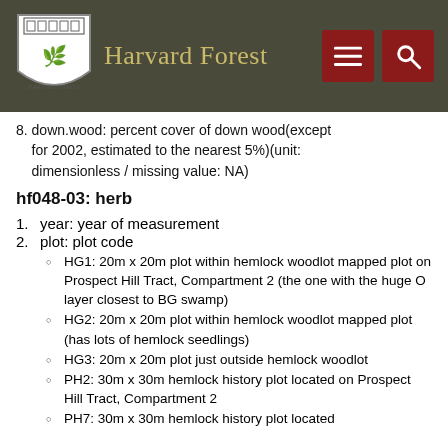Harvard Forest
8. down.wood: percent cover of down wood(except for 2002, estimated to the nearest 5%)(unit: dimensionless / missing value: NA)
hf048-03: herb
1. year: year of measurement
2. plot: plot code
HG1: 20m x 20m plot within hemlock woodlot mapped plot on Prospect Hill Tract, Compartment 2 (the one with the huge O layer closest to BG swamp)
HG2: 20m x 20m plot within hemlock woodlot mapped plot (has lots of hemlock seedlings)
HG3: 20m x 20m plot just outside hemlock woodlot
PH2: 30m x 30m hemlock history plot located on Prospect Hill Tract, Compartment 2
PH7: 30m x 30m hemlock history plot located